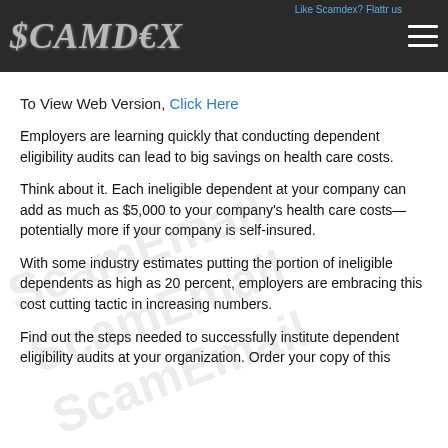$CAMD€X
To View Web Version, Click Here
Employers are learning quickly that conducting dependent eligibility audits can lead to big savings on health care costs.
Think about it. Each ineligible dependent at your company can add as much as $5,000 to your company's health care costs—potentially more if your company is self-insured.
With some industry estimates putting the portion of ineligible dependents as high as 20 percent, employers are embracing this cost cutting tactic in increasing numbers.
Find out the steps needed to successfully institute dependent eligibility audits at your organization. Order your copy of this